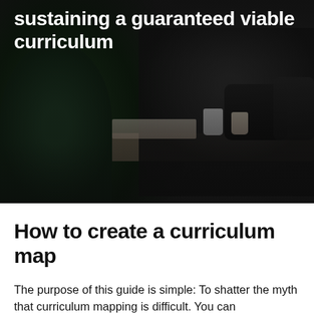sustaining a guaranteed viable curriculum
[Figure (photo): Dark photo of students or people sitting around a table, partially visible. Dark overlay with white bold text title at the top left reading 'sustaining a guaranteed viable curriculum'.]
How to create a curriculum map
The purpose of this guide is simple: To shatter the myth that curriculum mapping is difficult. You can